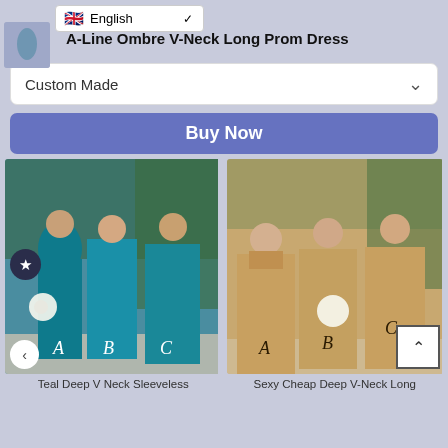English | A-Line Ombre V-Neck Long Prom Dress
Custom Made
Buy Now
[Figure (photo): Three women wearing teal/blue bridesmaid dresses labeled A, B, C standing outdoors with greenery]
[Figure (photo): Three women wearing champagne/gold bridesmaid dresses labeled A, B, C standing outdoors]
Teal Deep V Neck Sleeveless
Sexy Cheap Deep V-Neck Long